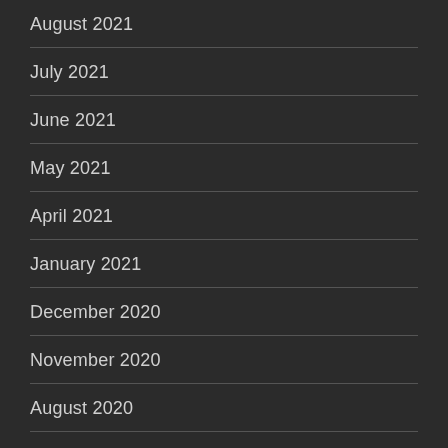August 2021
July 2021
June 2021
May 2021
April 2021
January 2021
December 2020
November 2020
August 2020
July 2020
May 2020